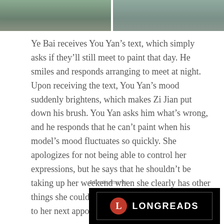[Figure (photo): Two side-by-side photos of people outdoors, cropped at the top of the page]
Ye Bai receives You Yan’s text, which simply asks if they’ll still meet to paint that day. He smiles and responds arranging to meet at night. Upon receiving the text, You Yan’s mood suddenly brightens, which makes Zi Jian put down his brush. You Yan asks him what’s wrong, and he responds that he can’t paint when his model’s mood fluctuates so quickly. She apologizes for not being able to control her expressions, but he says that he shouldn’t be taking up her weekend when she clearly has other things she could be doing. He offers to drive her to her next appointment.
Advertisements
[Figure (logo): Longreads logo on black background with red circle containing letter L]